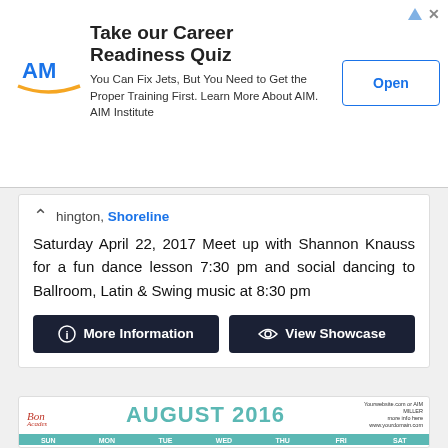[Figure (screenshot): Advertisement banner for AIM Institute Career Readiness Quiz with logo, headline, body text, and Open button]
hington, Shoreline
Saturday April 22, 2017 Meet up with Shannon Knauss for a fun dance lesson 7:30 pm and social dancing to Ballroom, Latin & Swing music at 8:30 pm
[Figure (screenshot): Two dark buttons: 'More Information' with info icon and 'View Showcase' with eye icon]
[Figure (screenshot): August 2016 calendar for Bon Academy dance studio showing weekly schedule of classes and events]